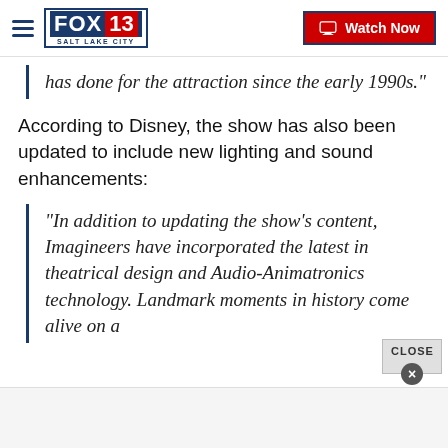[Figure (logo): FOX 13 Salt Lake City logo with hamburger menu icon]
[Figure (screenshot): Watch Now button with monitor icon, red background, blue border]
has done for the attraction since the early 1990s."
According to Disney, the show has also been updated to include new lighting and sound enhancements:
"In addition to updating the show’s content, Imagineers have incorporated the latest in theatrical design and Audio-Animatronics technology. Landmark moments in history come alive on a